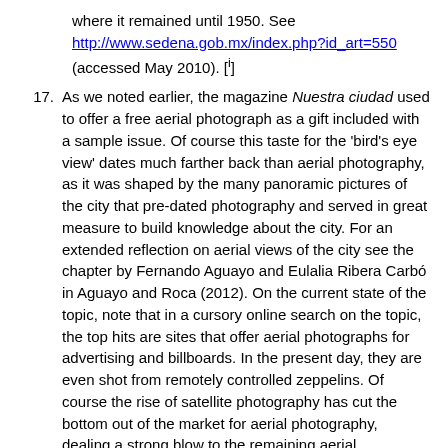where it remained until 1950. See http://www.sedena.gob.mx/index.php?id_art=550 (accessed May 10). [i]
17. As we noted earlier, the magazine Nuestra ciudad used to offer a free aerial photograph as a gift included with a sample issue. Of course this taste for the 'bird's eye view' dates much farther back than aerial photography, as it was shaped by the many panoramic pictures of the city that pre-dated photography and served in great measure to build knowledge about the city. For an extended reflection on aerial views of the city see the chapter by Fernando Aguayo and Eulalia Ribera Carbó in Aguayo and Roca (2012). On the current state of the topic, note that in a cursory online search on the topic, the top hits are sites that offer aerial photographs for advertising and billboards. In the present day, they are even shot from remotely controlled zeppelins. Of course the rise of satellite photography has cut the bottom out of the market for aerial photography, dealing a strong blow to the remaining aerial photography companies. Our